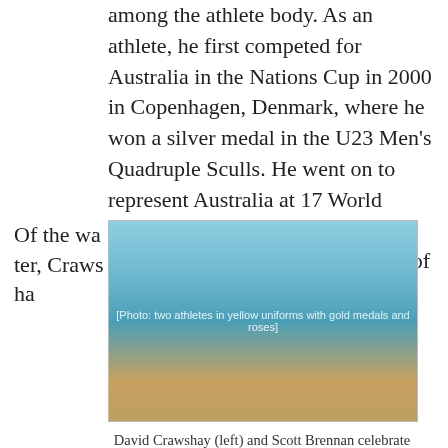among the athlete body. As an athlete, he first competed for Australia in the Nations Cup in 2000 in Copenhagen, Denmark, where he won a silver medal in the U23 Men's Quadruple Sculls. He went on to represent Australia at 17 World Rowing Cups and 10 Senior World Rowing Championships, while he of course also rowed for Australia at the Athens 2004, Beijing 2008 and London 2012 Olympic Games.
Of the water, Crawsha
[Figure (photo): David Crawshay (left) and Scott Brennan in yellow Australian rowing uniforms holding bouquets of red roses and gold medals at the 2008 Beijing Olympic Games.]
David Crawshay (left) and Scott Brennan celebrate winning gold in the Men's Double Scull at the 2008 Beijing Olympic Games.